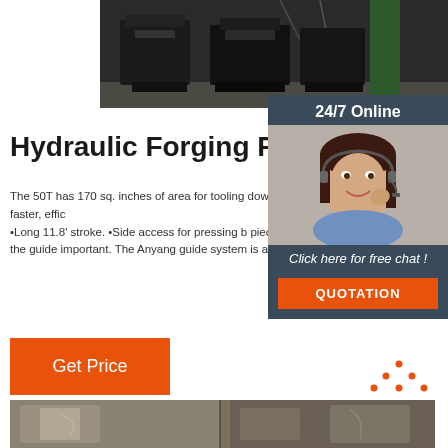[Figure (photo): Industrial hydraulic forging press machinery, dark/black equipment on factory floor]
[Figure (photo): 24/7 online chat widget with woman wearing headset smiling, dark blue background]
Hydraulic Forging Press
The 50T has 170 sq. inches of area for tooling down stroke proximity switches for faster, effic •Long 11.8' stroke. •Side access for pressing b pieces. •Engineering and machining the guide important. The Anyang guide system is a scale
[Figure (other): Orange Get Price button]
[Figure (other): TOP navigation icon with orange dots forming triangle and orange text]
[Figure (photo): Forged metal pieces/billets close-up photograph]